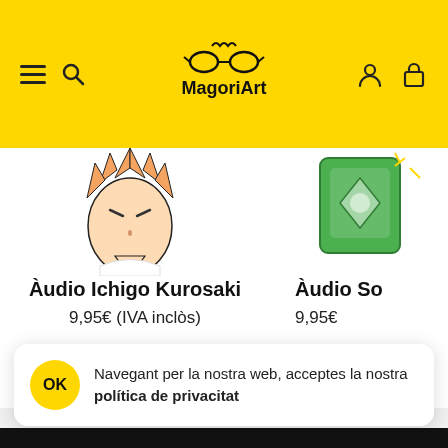MagoriArt navigation header with logo, hamburger menu, search, user and cart icons
[Figure (illustration): Partial illustration of Ichigo Kurosaki anime character face/head, cropped at top]
Àudio Ichigo Kurosaki
9,95€ (IVA inclòs)
[Figure (illustration): Partial illustration of another anime character, partially cropped on right side]
Àudio So
9,95€
Navegant per la nostra web, acceptes la nostra política de privacitat